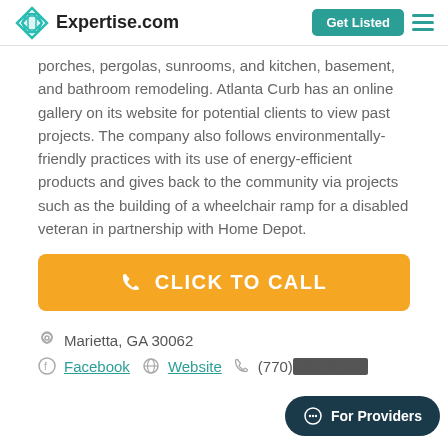Expertise.com | Get Listed
porches, pergolas, sunrooms, and kitchen, basement, and bathroom remodeling. Atlanta Curb has an online gallery on its website for potential clients to view past projects. The company also follows environmentally-friendly practices with its use of energy-efficient products and gives back to the community via projects such as the building of a wheelchair ramp for a disabled veteran in partnership with Home Depot.
CLICK TO CALL
Marietta, GA 30062
Facebook  Website  (770)XXX-XXXX
For Providers